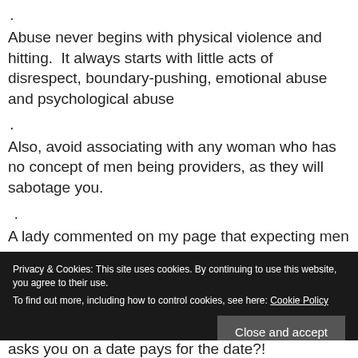.
Abuse never begins with physical violence and hitting.  It always starts with little acts of disrespect, boundary-pushing, emotional abuse and psychological abuse
.
Also, avoid associating with any woman who has no concept of men being providers, as they will sabotage you.
.
A lady commented on my page that expecting men to pay on dates is gold-digging.
.
Privacy & Cookies: This site uses cookies. By continuing to use this website, you agree to their use. To find out more, including how to control cookies, see here: Cookie Policy
asks you on a date pays for the date?!